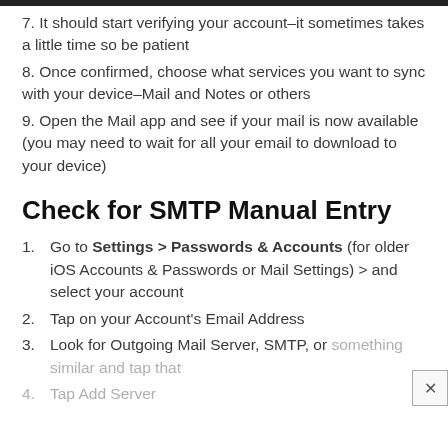7. It should start verifying your account–it sometimes takes a little time so be patient
8. Once confirmed, choose what services you want to sync with your device–Mail and Notes or others
9. Open the Mail app and see if your mail is now available (you may need to wait for all your email to download to your device)
Check for SMTP Manual Entry
1. Go to Settings > Passwords & Accounts (for older iOS Accounts & Passwords or Mail Settings) > and select your account
2. Tap on your Account's Email Address
3. Look for Outgoing Mail Server, SMTP, or something similar and tap that
4. Tap Add Server